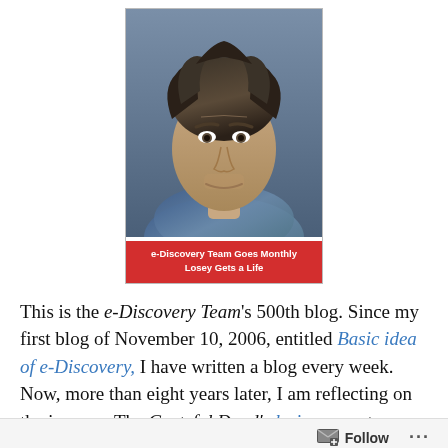[Figure (photo): Photo of a man (closeup face/head shot) with dark tousled hair and a scarf, displayed in a card with a red banner below reading 'e-Discovery Team Goes Monthly / Losey Gets a Life']
This is the e-Discovery Team's 500th blog. Since my first blog of November 10, 2006, entitled Basic idea of e-Discovery, I have written a blog every week. Now, more than eight years later, I am reflecting on the journey. The Grateful Dead's lyrics come to mind: What a long strange trip its been! I realize that it is time for a change, and this
Follow ...